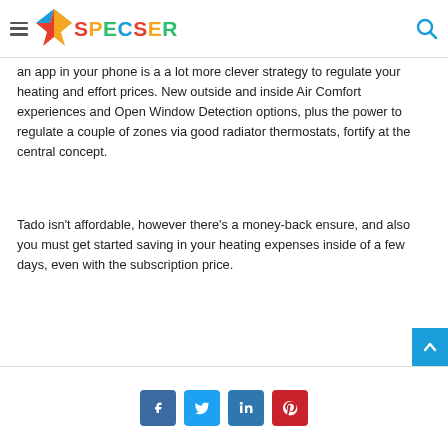SPECSER
an app in your phone is a a lot more clever strategy to regulate your heating and effort prices. New outside and inside Air Comfort experiences and Open Window Detection options, plus the power to regulate a couple of zones via good radiator thermostats, fortify at the central concept.
Tado isn't affordable, however there's a money-back ensure, and also you must get started saving in your heating expenses inside of a few days, even with the subscription price.
[Figure (infographic): Social share buttons: Facebook, Twitter, LinkedIn, Pinterest]